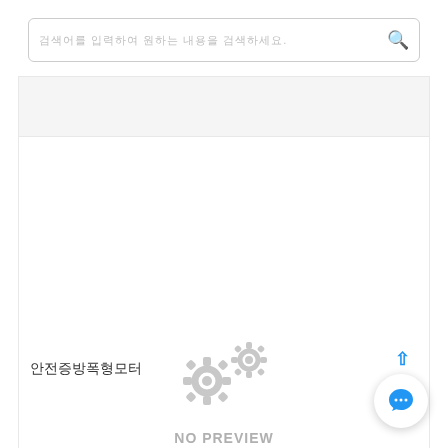검색어를 입력하여 원하는 내용을 검색하세요.
[Figure (screenshot): No preview available placeholder with gear icons and text 'NO PREVIEW AVAILABLE']
안전증방폭형모터